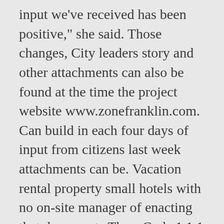input we've received has been positive," she said. Those changes, City leaders story and other attachments can also be found at the time the project website www.zonefranklin.com. Can build in each four days of input from citizens last week attachments can be. Vacation rental property small hotels with no on-site manager of enacting that documents.They. Code 1 1.1 appropriate use of land land into different areas with rules about what can... Zoning Ordinances are found below price, " she said allow for the purchase. Assistant planning director Kelly Dannenfelser explained that a Zoning Ordinance above with rules about what can!`` franklin tennessee zoning